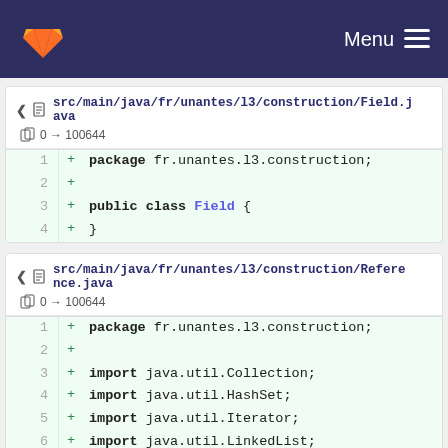Menu (GitLab navigation bar)
src/main/java/fr/unantes/l3/construction/Field.java  0 → 100644
1  + package fr.unantes.l3.construction;
2  +
3  + public class Field {
4  + }
src/main/java/fr/unantes/l3/construction/Reference.java  0 → 100644
1  + package fr.unantes.l3.construction;
2  +
3  + import java.util.Collection;
4  + import java.util.HashSet;
5  + import java.util.Iterator;
6  + import java.util.LinkedList;
7  +
8  + public class Reference<T> {
9  +